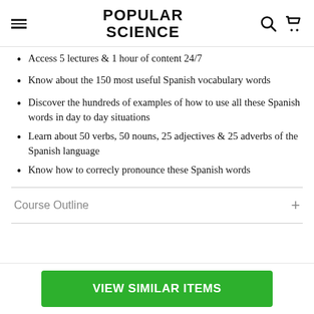POPULAR SCIENCE
Access 5 lectures & 1 hour of content 24/7
Know about the 150 most useful Spanish vocabulary words
Discover the hundreds of examples of how to use all these Spanish words in day to day situations
Learn about 50 verbs, 50 nouns, 25 adjectives & 25 adverbs of the Spanish language
Know how to correcly pronounce these Spanish words
Course Outline
VIEW SIMILAR ITEMS